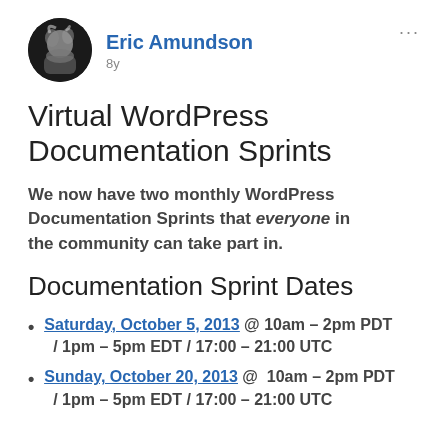Eric Amundson · 8y
Virtual WordPress Documentation Sprints
We now have two monthly WordPress Documentation Sprints that everyone in the community can take part in.
Documentation Sprint Dates
Saturday, October 5, 2013 @ 10am – 2pm PDT / 1pm – 5pm EDT / 17:00 – 21:00 UTC
Sunday, October 20, 2013 @  10am – 2pm PDT / 1pm – 5pm EDT / 17:00 – 21:00 UTC